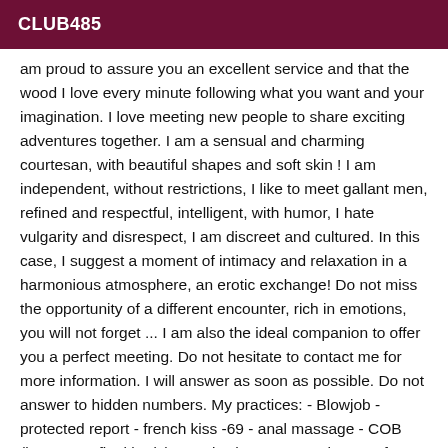CLUB485
am proud to assure you an excellent service and that the wood I love every minute following what you want and your imagination. I love meeting new people to share exciting adventures together. I am a sensual and charming courtesan, with beautiful shapes and soft skin ! I am independent, without restrictions, I like to meet gallant men, refined and respectful, intelligent, with humor, I hate vulgarity and disrespect, I am discreet and cultured. In this case, I suggest a moment of intimacy and relaxation in a harmonious atmosphere, an erotic exchange! Do not miss the opportunity of a different encounter, rich in emotions, you will not forget ... I am also the ideal companion to offer you a perfect meeting. Do not hesitate to contact me for more information. I will answer as soon as possible. Do not answer to hidden numbers. My practices: - Blowjob -protected report - french kiss -69 - anal massage - COB (breasts or final body), -Erotic shower set - Change of caresses I always